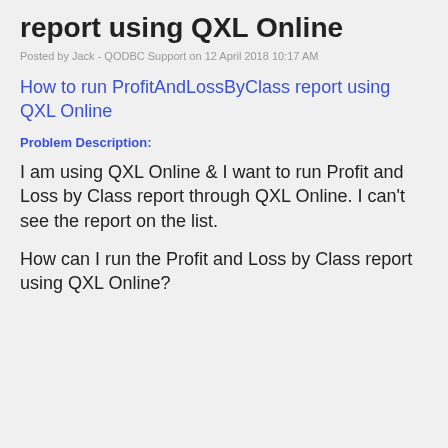report using QXL Online
Posted by Jack - QODBC Support on 12 April 2018 10:17 AM
How to run ProfitAndLossByClass report using QXL Online
Problem Description:
I am using QXL Online & I want to run Profit and Loss by Class report through QXL Online. I can't see the report on the list.
How can I run the Profit and Loss by Class report using QXL Online?